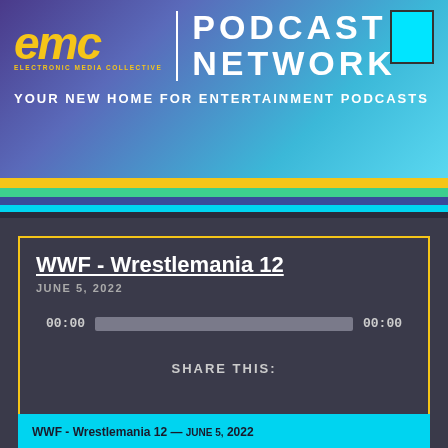[Figure (logo): EMC Electronic Media Collective Podcast Network logo banner with cyan gradient background, yellow EMC logo, white vertical divider, white PODCAST NETWORK text, and cyan box in top right]
YOUR NEW HOME FOR ENTERTAINMENT PODCASTS
[Figure (infographic): Horizontal color stripes: yellow, green, dark blue, cyan, dark]
WWF - Wrestlemania 12
JUNE 5, 2022
[Figure (other): Audio player with 00:00 start time, grey progress bar, 00:00 end time]
SHARE THIS:
WWF - Wrestlemania 12 — JUNE 5, 2022